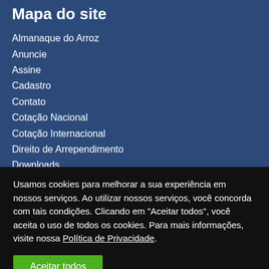Mapa do site
Almanaque do Arroz
Anuncie
Assine
Cadastro
Contato
Cotação Nacional
Cotação Internacional
Direito de Arrependimento
Downloads
Usamos cookies para melhorar a sua experiência em nossos serviços. Ao utilizar nossos serviços, você concorda com tais condições. Clicando em "Aceitar todos", você aceita o uso de todos os cookies. Para mais informações, visite nossa Política de Privacidade.